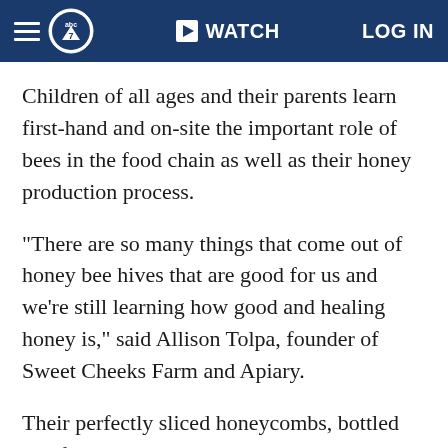ABC7 WATCH LOG IN
Children of all ages and their parents learn first-hand and on-site the important role of bees in the food chain as well as their honey production process.
"There are so many things that come out of honey bee hives that are good for us and we're still learning how good and healing honey is," said Allison Tolpa, founder of Sweet Cheeks Farm and Apiary.
Their perfectly sliced honeycombs, bottled and flavored honey butter, bee pollen, honey soaps, and candles can all be purchased at various farmers' markets across New Jersey.